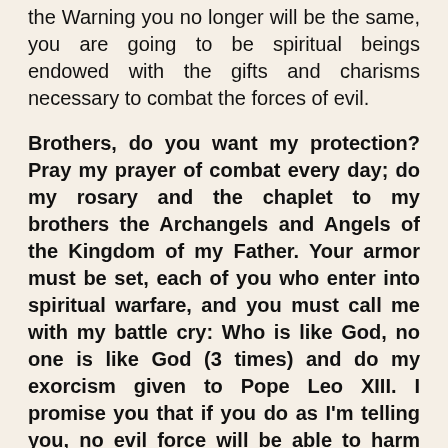the Warning you no longer will be the same, you are going to be spiritual beings endowed with the gifts and charisms necessary to combat the forces of evil.
Brothers, do you want my protection? Pray my prayer of combat every day; do my rosary and the chaplet to my brothers the Archangels and Angels of the Kingdom of my Father. Your armor must be set, each of you who enter into spiritual warfare, and you must call me with my battle cry: Who is like God, no one is like God (3 times) and do my exorcism given to Pope Leo XIII. I promise you that if you do as I'm telling you, no evil force will be able to harm you.
Do not be afraid doing my exorcism. Do not allow yourself to be intimidated by my adversary, because that's what he wants, that you fear him so that you can not fight him. Remember that you must be in the state of grace to do my exorcism, and be prepared as